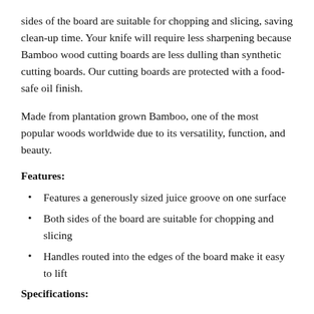sides of the board are suitable for chopping and slicing, saving clean-up time. Your knife will require less sharpening because Bamboo wood cutting boards are less dulling than synthetic cutting boards. Our cutting boards are protected with a food-safe oil finish.
Made from plantation grown Bamboo, one of the most popular woods worldwide due to its versatility, function, and beauty.
Features:
Features a generously sized juice groove on one surface
Both sides of the board are suitable for chopping and slicing
Handles routed into the edges of the board make it easy to lift
Specifications: